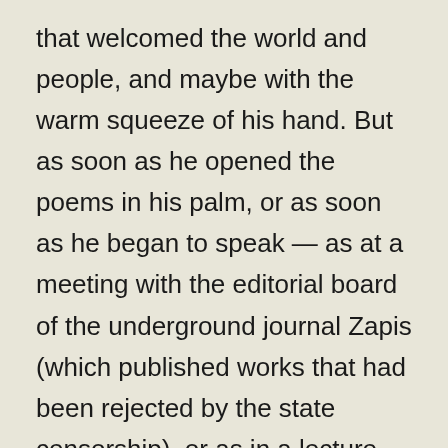that welcomed the world and people, and maybe with the warm squeeze of his hand. But as soon as he opened the poems in his palm, or as soon as he began to speak — as at a meeting with the editorial board of the underground journal Zapis (which published works that had been rejected by the state censorship), or as in a lecture on the ways in which the state pre-empted our language — we found ourselves joining him in the space of Agon, a space in which language gains the power of protest and the power to struggle for credible testimony. And it was exactly this transformation from the small and heartfelt into razor-sharp irony and heresy that revealed the first sign of his